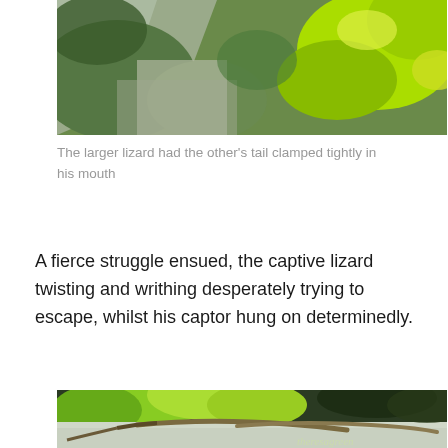[Figure (photo): Close-up photograph of green foliage and a stone surface, partially cropped at the top of the page showing the bottom portion of a lizard encounter scene.]
The larger lizard had the other's tail clamped tightly in his mouth
A fierce struggle ensued, the captive lizard twisting and writhing desperately trying to escape, whilst his captor hung on determinedly.
[Figure (photo): Photograph of two lizards on a stone surface surrounded by green foliage in sunlight, with a watermark text 'theresagreen' in the lower right corner.]